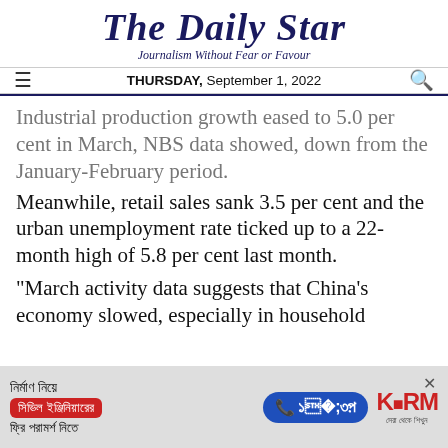The Daily Star
Journalism Without Fear or Favour
THURSDAY, September 1, 2022
Industrial production growth eased to 5.0 per cent in March, NBS data showed, down from the January-February period.
Meanwhile, retail sales sank 3.5 per cent and the urban unemployment rate ticked up to a 22-month high of 5.8 per cent last month.
"March activity data suggests that China's economy slowed, especially in household
[Figure (other): Advertisement banner for KSRM civil engineering consultation service in Bengali language, with phone number 16749]